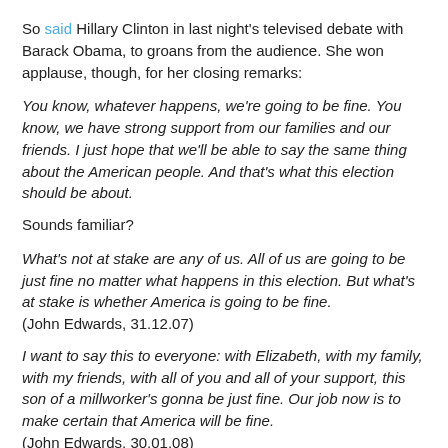So said Hillary Clinton in last night's televised debate with Barack Obama, to groans from the audience. She won applause, though, for her closing remarks:
You know, whatever happens, we're going to be fine. You know, we have strong support from our families and our friends. I just hope that we'll be able to say the same thing about the American people. And that's what this election should be about.
Sounds familiar?
What's not at stake are any of us. All of us are going to be just fine no matter what happens in this election. But what's at stake is whether America is going to be fine.
(John Edwards, 31.12.07)
I want to say this to everyone: with Elizabeth, with my family, with my friends, with all of you and all of your support, this son of a millworker's gonna be just fine. Our job now is to make certain that America will be fine.
(John Edwards, 30.01.08)